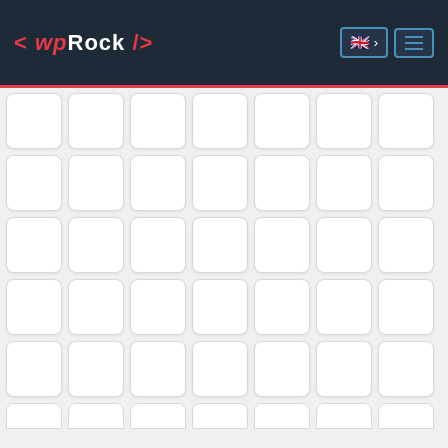< wpRock /> [UK flag] > [menu]
[Figure (infographic): Grid of icon buttons showing person/restroom symbols (plain, male, female variants) in red on white rounded-rectangle buttons, arranged in 5 rows of 7 icons each, plus a partial 6th row, on a light gray background.]